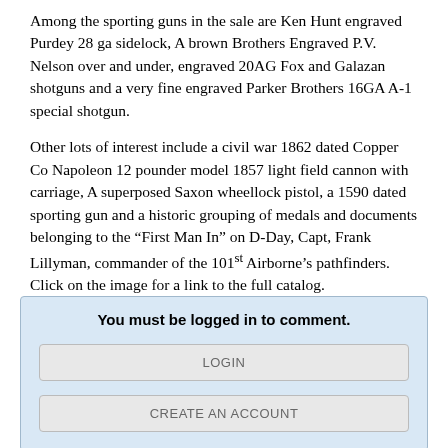Among the sporting guns in the sale are Ken Hunt engraved Purdey 28 ga sidelock, A brown Brothers Engraved P.V. Nelson over and under, engraved 20AG Fox and Galazan shotguns and a very fine engraved Parker Brothers 16GA A-1 special shotgun.
Other lots of interest include a civil war 1862 dated Copper Co Napoleon 12 pounder model 1857 light field cannon with carriage, A superposed Saxon wheellock pistol, a 1590 dated sporting gun and a historic grouping of medals and documents belonging to the “First Man In” on D-Day, Capt, Frank Lillyman, commander of the 101st Airborne’s pathfinders. Click on the image for a link to the full catalog.
posted at: 2022-04-28 15:12:00, last updated: 2022-04-28 15:14:29
You must be logged in to comment.
LOGIN
CREATE AN ACCOUNT